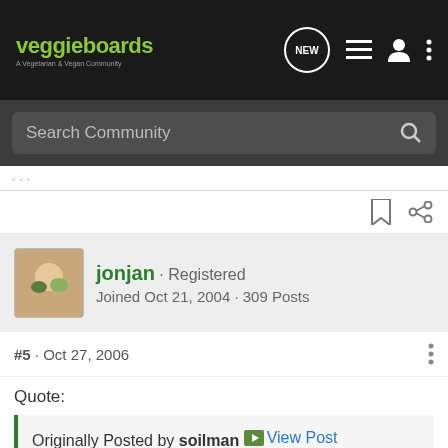veggieboards · A Vegetarian & Vegan Community
Search Community
jonjan · Registered
Joined Oct 21, 2004 · 309 Posts
#5 · Oct 27, 2006
Quote:
Originally Posted by soilman  View Post